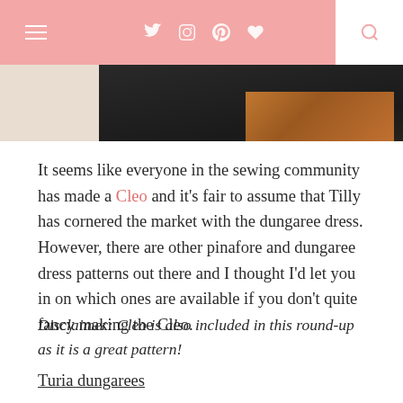Navigation bar with hamburger menu, social icons (Twitter, Instagram, Pinterest, Heart), and search icon
[Figure (photo): Partial photo showing dark fabric/clothing item and wooden furniture, cropped at top of view]
It seems like everyone in the sewing community has made a Cleo and it's fair to assume that Tilly has cornered the market with the dungaree dress. However, there are other pinafore and dungaree dress patterns out there and I thought I'd let you in on which ones are available if you don't quite fancy making the Cleo.
Disclaimer: Cleo is also included in this round-up as it is a great pattern!
Turia dungarees